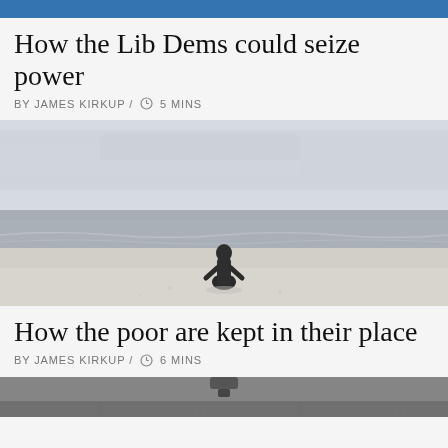[Figure (photo): Top portion of an article image, partially cropped - shows a person in blue]
How the Lib Dems could seize power
BY JAMES KIRKUP / 5 MINS
[Figure (photo): A dark sculpture or figure kneeling on a sandy beach with ocean waves in the background under a grey sky]
How the poor are kept in their place
BY JAMES KIRKUP / 6 MINS
[Figure (photo): Bottom portion showing the top of a stone building facade with architectural details, partially cropped]